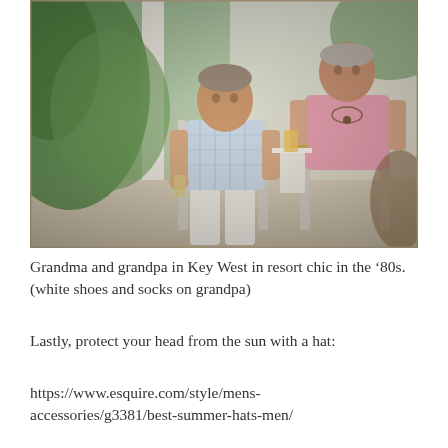[Figure (photo): Vintage photograph of an elderly man and woman (grandma and grandpa) seated outdoors on a porch or patio in white folding chairs. The man wears a plaid short-sleeve shirt and white trousers. The woman wears a pink top and necklace. Both appear relaxed, holding drinks. Green foliage visible in background. Photo has warm, slightly faded tones typical of 1980s photography.]
Grandma and grandpa in Key West in resort chic in the '80s. (white shoes and socks on grandpa)
Lastly, protect your head from the sun with a hat:
https://www.esquire.com/style/mens-accessories/g3381/best-summer-hats-men/